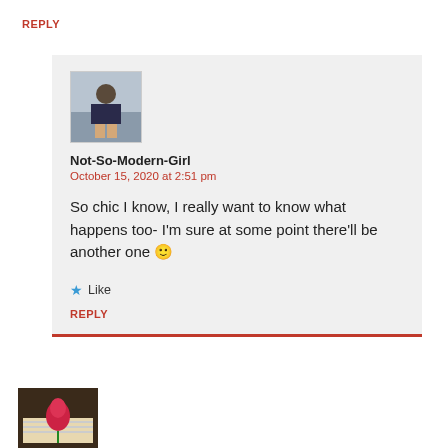REPLY
[Figure (photo): Profile avatar of a person sitting on steps outdoors]
Not-So-Modern-Girl
October 15, 2020 at 2:51 pm
So chic I know, I really want to know what happens too- I'm sure at some point there'll be another one 🙂
Like
REPLY
[Figure (photo): Profile avatar showing a red rose on an open book]